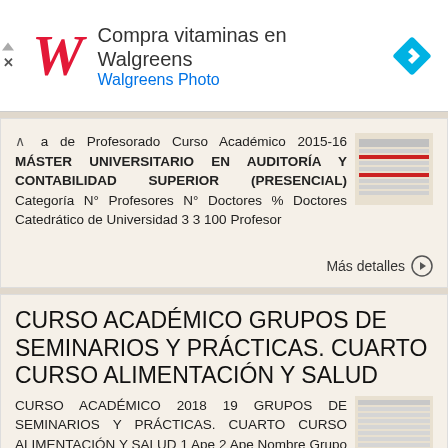[Figure (screenshot): Walgreens advertisement banner with red cursive W logo, text 'Compra vitaminas en Walgreens' and 'Walgreens Photo', and a blue navigation arrow icon on the right]
a de Profesorado Curso Académico 2015-16 MÁSTER UNIVERSITARIO EN AUDITORÍA Y CONTABILIDAD SUPERIOR (PRESENCIAL) Categoría N° Profesores N° Doctores % Doctores Catedrático de Universidad 3 3 100 Profesor
Más detalles →
CURSO ACADÉMICO GRUPOS DE SEMINARIOS Y PRÁCTICAS. CUARTO CURSO ALIMENTACIÓN Y SALUD
CURSO ACADÉMICO 2018 19 GRUPOS DE SEMINARIOS Y PRÁCTICAS. CUARTO CURSO ALIMENTACIÓN Y SALUD 1 Ape 2 Ape Nombre Grupo B1 Alcoba Finol María José 1